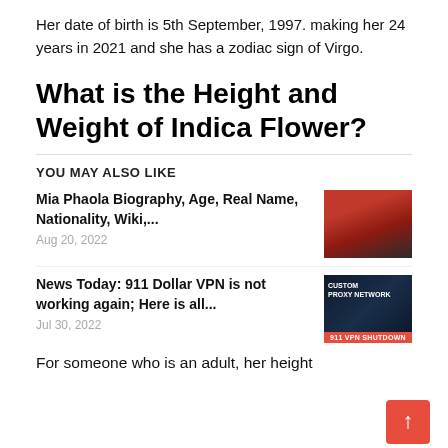Her date of birth is 5th September, 1997. making her 24 years in 2021 and she has a zodiac sign of Virgo.
What is the Height and Weight of Indica Flower?
YOU MAY ALSO LIKE
Mia Phaola Biography, Age, Real Name, Nationality, Wiki,...
Aug 20, 2022
News Today: 911 Dollar VPN is not working again; Here is all...
Jul 30, 2022
For someone who is an adult, her height